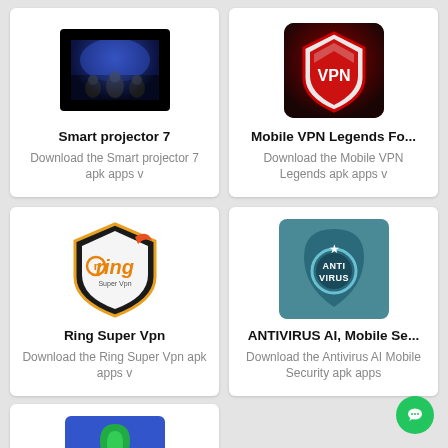[Figure (screenshot): Smart projector 7 app icon - dark background with blue glow and people silhouette]
Smart projector 7
Download the Smart projector 7 apk apps v
[Figure (screenshot): Mobile VPN Legends app icon - shield with VPN text on dark red/dark background]
Mobile VPN Legends Fo...
Download the Mobile VPN Legends apk apps v
[Figure (logo): Ring Super Vpn logo - orange and black shield with ring text]
Ring Super Vpn
Download the Ring Super Vpn apk apps v
[Figure (screenshot): Antivirus AI app icon - dark teal shield shape with ANTI VIRUS text and star]
ANTIVIRUS AI, Mobile Se...
Download the Antivirus AI Mobile Security apk apps
[Figure (screenshot): Partial view of another app icon - blue background with green shield]